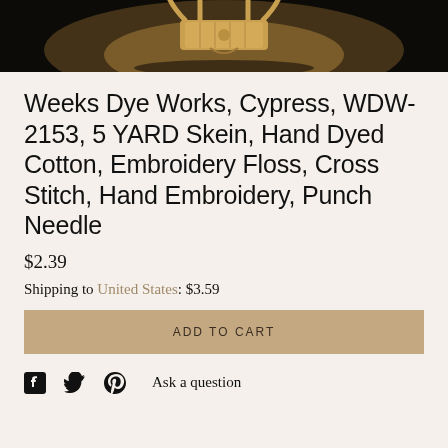[Figure (photo): Top portion of a product photo showing a wooden embroidery floss bobbin or spool on a dark background]
Weeks Dye Works, Cypress, WDW-2153, 5 YARD Skein, Hand Dyed Cotton, Embroidery Floss, Cross Stitch, Hand Embroidery, Punch Needle
$2.39
Shipping to United States: $3.59
ADD TO CART
Ask a question